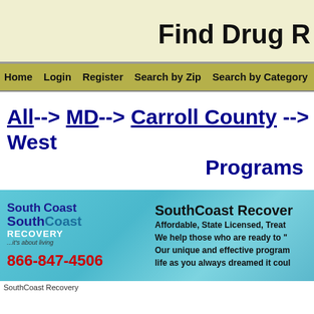Find Drug R
Home  Login  Register  Search by Zip  Search by Category  US Directory  Co
All --> MD --> Carroll County --> West... Programs
[Figure (advertisement): SouthCoast Recovery banner ad with logo, phone number 866-847-4506, and text about affordable state licensed treatment programs]
SouthCoast Recovery